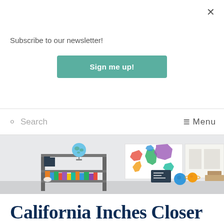Subscribe to our newsletter!
Sign me up!
Search
Menu
[Figure (photo): A classroom or learning space with a globe on a metal shelf with books, colorful world map posters on the wall, and decorative planet spheres on a table.]
California Inches Closer to Ethnic Studies Mayhem